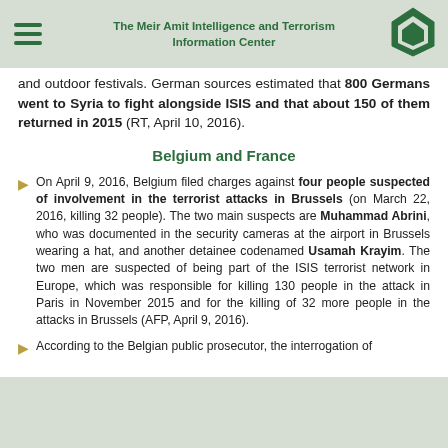The Meir Amit Intelligence and Terrorism Information Center
and outdoor festivals. German sources estimated that 800 Germans went to Syria to fight alongside ISIS and that about 150 of them returned in 2015 (RT, April 10, 2016).
Belgium and France
On April 9, 2016, Belgium filed charges against four people suspected of involvement in the terrorist attacks in Brussels (on March 22, 2016, killing 32 people). The two main suspects are Muhammad Abrini, who was documented in the security cameras at the airport in Brussels wearing a hat, and another detainee codenamed Usamah Krayim. The two men are suspected of being part of the ISIS terrorist network in Europe, which was responsible for killing 130 people in the attack in Paris in November 2015 and for the killing of 32 more people in the attacks in Brussels (AFP, April 9, 2016).
According to the Belgian public prosecutor, the interrogation of